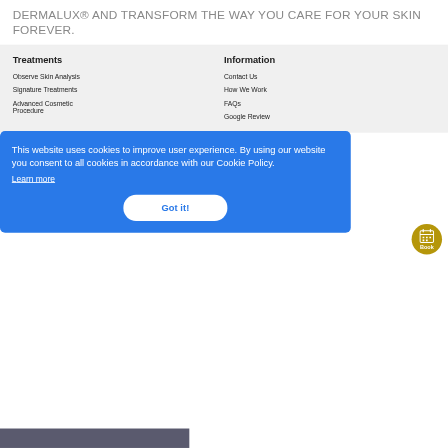DERMALUX® AND TRANSFORM THE WAY YOU CARE FOR YOUR SKIN FOREVER.
Treatments
Observe Skin Analysis
Signature Treatments
Advanced Cosmetic Procedure
Information
Contact Us
How We Work
FAQs
Google Review
This website uses cookies to improve user experience. By using our website you consent to all cookies in accordance with our Cookie Policy.
Learn more
Got it!